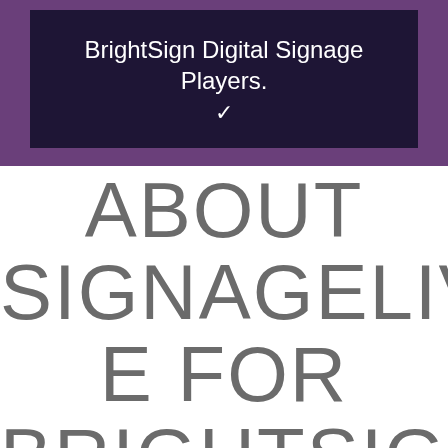[Figure (screenshot): Dark header banner with text 'BrightSign Digital Signage Players.' in white on a dark navy/purple background, with a downward chevron arrow below, set inside a purple outer bar.]
ABOUT SIGNAGELIVE FOR BRIGHTSIGN DIGITAL